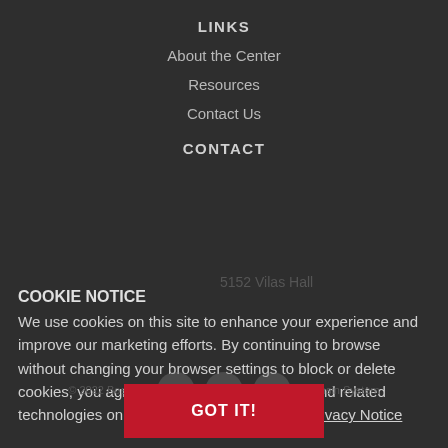LINKS
About the Center
Resources
Contact Us
CONTACT
5152 Vilas Hall
COOKIE NOTICE
We use cookies on this site to enhance your experience and improve our marketing efforts. By continuing to browse without changing your browser settings to block or delete cookies, you agree to the storing of cookies and related technologies on your device. UW–Madison Privacy Notice
© 2022 Board of Regents of the University of Wisconsin System
GOT IT!